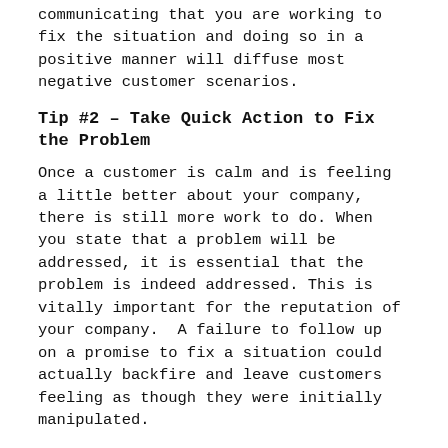communicating that you are working to fix the situation and doing so in a positive manner will diffuse most negative customer scenarios.
Tip #2 – Take Quick Action to Fix the Problem
Once a customer is calm and is feeling a little better about your company, there is still more work to do. When you state that a problem will be addressed, it is essential that the problem is indeed addressed. This is vitally important for the reputation of your company.  A failure to follow up on a promise to fix a situation could actually backfire and leave customers feeling as though they were initially manipulated.
Tip #3 – Always Stay Calm
If a customer is unhappy enough to write an email or post a negative review online, then they are obviously displeased.  However, if a customer is angry enough to pick up the phone and call, you can be fairly certain that the customer in question is rather upset.  This